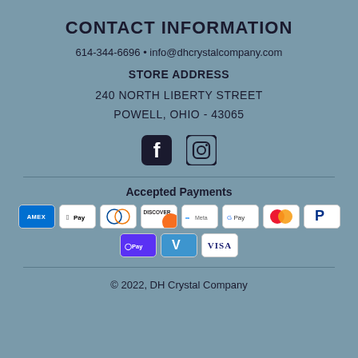CONTACT INFORMATION
614-344-6696 • info@dhcrystalcompany.com
STORE ADDRESS
240 NORTH LIBERTY STREET
POWELL, OHIO - 43065
[Figure (logo): Facebook and Instagram social media icons]
Accepted Payments
[Figure (infographic): Payment method logos: AMEX, Apple Pay, Diners Club, Discover, Meta Pay, Google Pay, Mastercard, PayPal, ShopPay, Venmo, VISA]
© 2022, DH Crystal Company